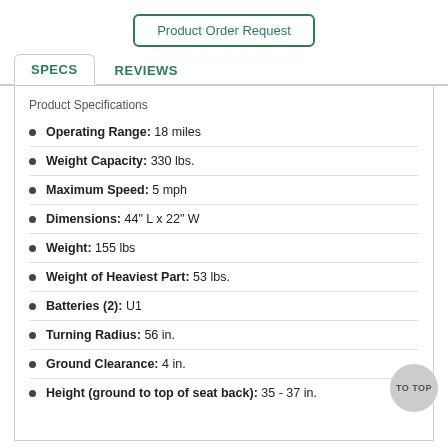Product Order Request
SPECS | REVIEWS
Product Specifications
Operating Range: 18 miles
Weight Capacity: 330 lbs.
Maximum Speed: 5 mph
Dimensions: 44" L x 22" W
Weight: 155 lbs
Weight of Heaviest Part: 53 lbs.
Batteries (2): U1
Turning Radius: 56 in.
Ground Clearance: 4 in.
Height (ground to top of seat back): 35 - 37 in.